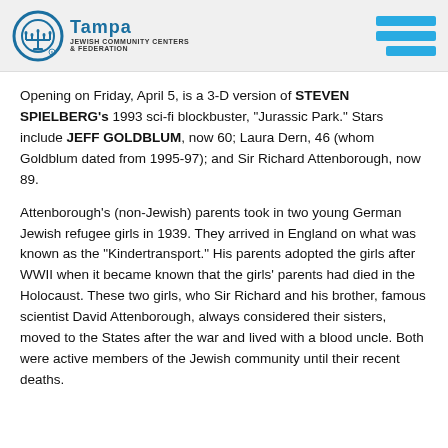Tampa Jewish Community Centers & Federation
Opening on Friday, April 5, is a 3-D version of STEVEN SPIELBERG's 1993 sci-fi blockbuster, "Jurassic Park." Stars include JEFF GOLDBLUM, now 60; Laura Dern, 46 (whom Goldblum dated from 1995-97); and Sir Richard Attenborough, now 89.
Attenborough's (non-Jewish) parents took in two young German Jewish refugee girls in 1939. They arrived in England on what was known as the "Kindertransport." His parents adopted the girls after WWII when it became known that the girls' parents had died in the Holocaust. These two girls, who Sir Richard and his brother, famous scientist David Attenborough, always considered their sisters, moved to the States after the war and lived with a blood uncle. Both were active members of the Jewish community until their recent deaths.